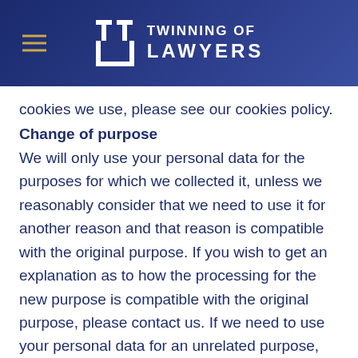TWINNING OF LAWYERS
cookies we use, please see our cookies policy.
Change of purpose
We will only use your personal data for the purposes for which we collected it, unless we reasonably consider that we need to use it for another reason and that reason is compatible with the original purpose. If you wish to get an explanation as to how the processing for the new purpose is compatible with the original purpose, please contact us. If we need to use your personal data for an unrelated purpose, we will notify you and we will explain the legal basis which allows us to do so. Please note that we may process your personal data without your knowledge or consent, in compliance with the